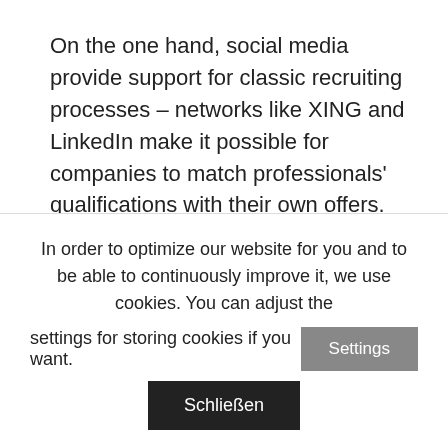On the one hand, social media provide support for classic recruiting processes – networks like XING and LinkedIn make it possible for companies to match professionals' qualifications with their own offers. On the other hand, job hunt via retweet on Twitter has become popular especially in social media related jobs, and job hunters in any areas and positions profit from offers in Facebook groups. Especially HR departments in highly specialised industries desperately looking for qualified personnel can profit from web & social media monitoring. Keeping an eye on websites or keywords with regard to
In order to optimize our website for you and to be able to continuously improve it, we use cookies. You can adjust the settings for storing cookies if you want.